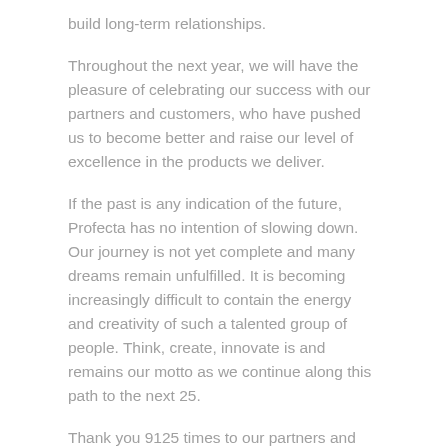build long-term relationships.
Throughout the next year, we will have the pleasure of celebrating our success with our partners and customers, who have pushed us to become better and raise our level of excellence in the products we deliver.
If the past is any indication of the future, Profecta has no intention of slowing down. Our journey is not yet complete and many dreams remain unfulfilled. It is becoming increasingly difficult to contain the energy and creativity of such a talented group of people. Think, create, innovate is and remains our motto as we continue along this path to the next 25.
Thank you 9125 times to our partners and precious customers for the past 25 years and we look forward to enjoying the next 25 years with you.